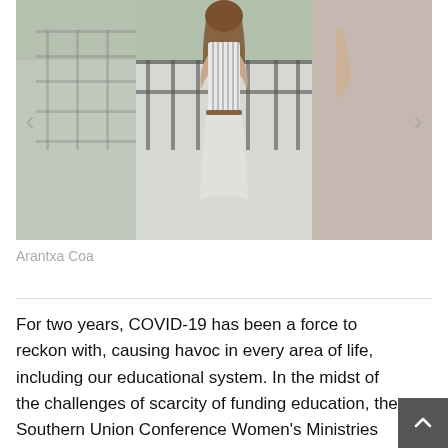[Figure (photo): Photo of a young woman named Arantxa Coa standing on a balcony or walkway, wearing a striped top and skirt, with greenery in the background. Navigation arrows on left and right sides suggest a slideshow.]
Arantxa Coa
For two years, COVID-19 has been a force to reckon with, causing havoc in every area of life, including our educational system. In the midst of the challenges of scarcity of funding education, the Southern Union Conference Women's Ministries Department makes it a priority to continue the commitment to the young collegiate women through the Emerging Women Leaders' Scholarship Award. Shirley Scott, women's ministries director at the Southern Union Conference, says, “Every penny our students receive is significant, as nearly 70-90% of them rely on